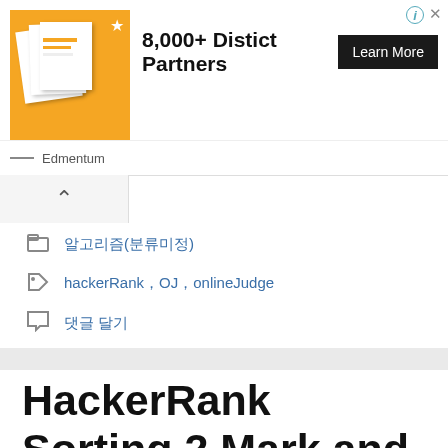[Figure (illustration): Advertisement banner for Edmentum showing document cards on orange background with text '8,000+ Distict Partners' and a 'Learn More' button]
[Figure (other): Collapsed panel with upward chevron arrow]
알고리즘(분류미정)
hackerRank, OJ, onlineJudge
댓글 달기
HackerRank Sorting 2.Mark and Toys
2021 년 7 월 14 일 작성자: mattQQ